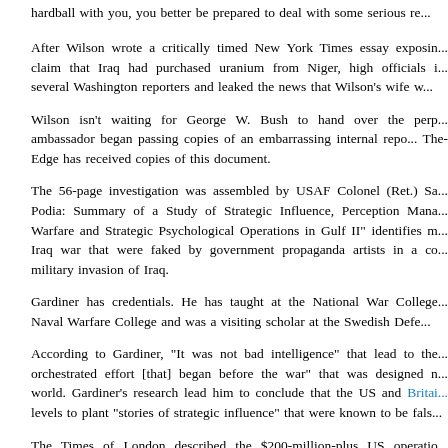hardball with you, you better be prepared to deal with some serious re...
After Wilson wrote a critically timed New York Times essay exposin... claim that Iraq had purchased uranium from Niger, high officials i... several Washington reporters and leaked the news that Wilson's wife w...
Wilson isn't waiting for George W. Bush to hand over the perp... ambassador began passing copies of an embarrassing internal repo... The-Edge has received copies of this document.
The 56-page investigation was assembled by USAF Colonel (Ret.) Sa... Podia: Summary of a Study of Strategic Influence, Perception Mana... Warfare and Strategic Psychological Operations in Gulf II" identifies m... Iraq war that were faked by government propaganda artists in a co... military invasion of Iraq.
Gardiner has credentials. He has taught at the National War College... Naval Warfare College and was a visiting scholar at the Swedish Defe...
According to Gardiner, "It was not bad intelligence" that lead to the... orchestrated effort [that] began before the war" that was designed n... world. Gardiner's research lead him to conclude that the US and Britain... levels to plant "stories of strategic influence" that were known to be fals...
The Times of London described the $200-million-plus US operatio... strategy to persuade the public, the Congress, and the allies of the ne... Saddam Hussein."
The multimillion-dollar propaganda campaign run out of the White Ho... was, in Gardiner's final assessment "irresponsible in parts" and "might...